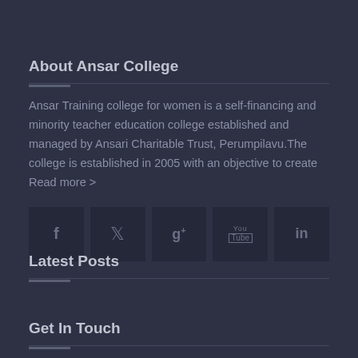About Ansar College
Ansar Training college for women is a self-financing and minority teacher education college established and managed by Ansari Charitable Trust, Perumpilavu.The college is established in 2005 with an objective to create Read more >
[Figure (infographic): Row of five social media icon buttons: Facebook (f), Twitter (bird), Google+ (g+), YouTube (tube icon), LinkedIn (in), on dark square backgrounds]
Latest Posts
Get In Touch